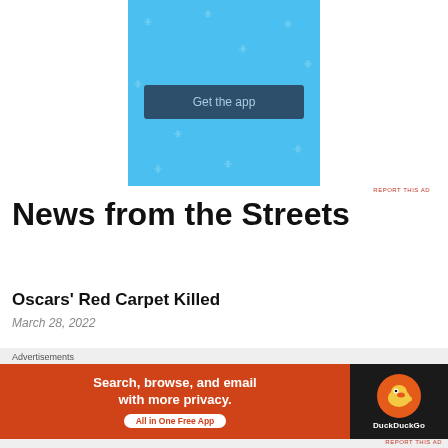[Figure (other): Light blue advertisement banner with sparkle/star pattern and a dark blue 'Get the app' button in the center]
REPORT THIS AD
News from the Streets
Oscars' Red Carpet Killed
March 28, 2022
The Show: Streaming Styles
[Figure (other): DuckDuckGo advertisement banner: orange section with text 'Search, browse, and email with more privacy. All in One Free App' and dark section with DuckDuckGo duck logo]
REPORT THIS AD